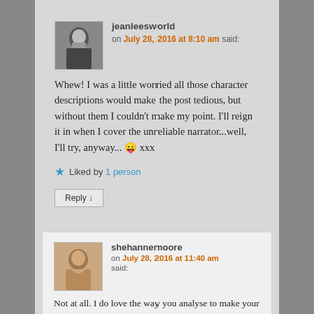jeanleesworld
on July 28, 2016 at 8:10 am said:
Whew! I was a little worried all those character descriptions would make the post tedious, but without them I couldn't make my point. I'll reign it in when I cover the unreliable narrator...well, I'll try, anyway... 😛 xxx
Liked by 1 person
Reply ↓
shehannemoore
on July 28, 2016 at 11:40 am said:
Not at all. I do love the way you analyse to make your point. So don't you worry about a thing...